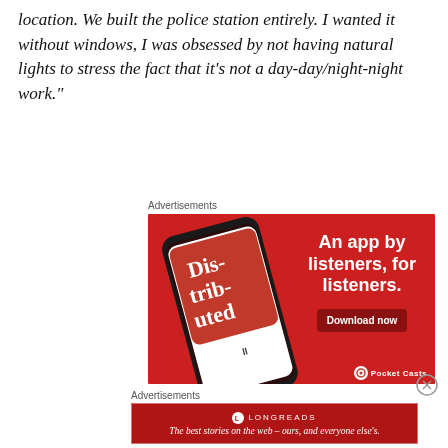location. We built the police station entirely. I wanted it without windows, I was obsessed by not having natural lights to stress the fact that it's not a day-day/night-night work."
Advertisements
[Figure (photo): Advertisement for Pocket Casts app on red background showing a smartphone with a podcast app open displaying 'Distributed' podcast. Text reads: 'An app by listeners, for listeners.' with a 'Download now' button.]
Advertisements
[Figure (photo): Longreads advertisement on dark red background with logo and tagline: 'The best stories on the web – ours, and everyone else's.']